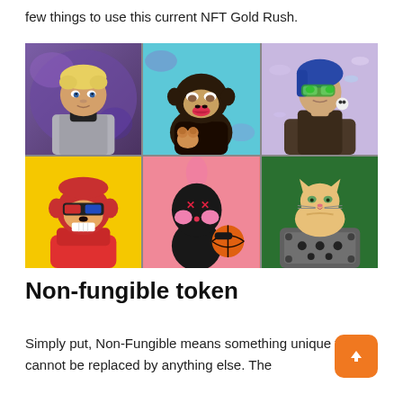few things to use this current NFT Gold Rush.
[Figure (illustration): A 2x3 grid of six NFT artwork examples: top-left is a 3D rendered young man with blonde hair on purple background; top-center is a Bored Ape style cartoon monkey holding a teddy bear on blue background; top-right is an anime-style girl with blue hair and goggles on purple background; bottom-left is a red cartoon ape wearing 3D glasses on yellow background; bottom-center is a black and pink bunny/character holding a basketball on pink background; bottom-right is a cartoon cat sitting on a robot/device on green background.]
Non-fungible token
Simply put, Non-Fungible means something unique that cannot be replaced by anything else. The